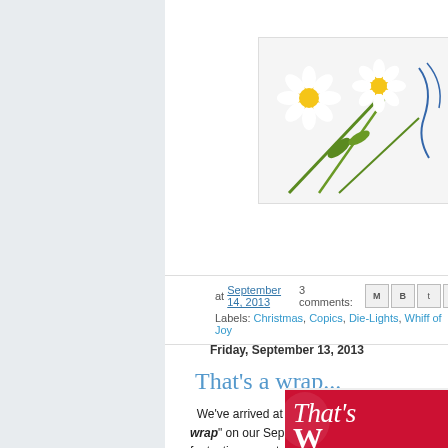[Figure (photo): Blog header with daisy flowers and cursive script on white background]
at September 14, 2013   3 comments:
Labels: Christmas, Copics, Die-Lights, Whiff of Joy
Friday, September 13, 2013
That's a wrap...
We've arrived at the last day and "that's a wrap" on our Sep festive week peeking at five fantastic new sets. Our last set is Marcella Hawley is the perfect companion for any gift or Chris bells, elegant flowers, Christmas boughs, a terrific tag, as we
[Figure (photo): Red card with cursive white text reading 'That's' and large 'W' below, partial view of a product or card design]